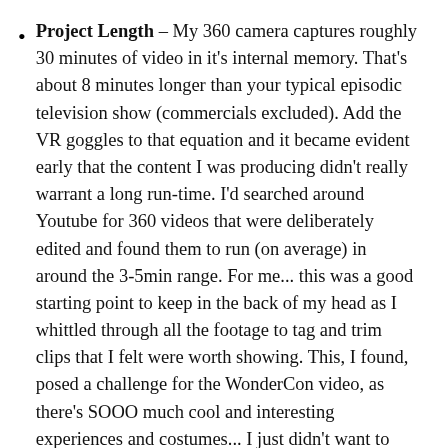Project Length – My 360 camera captures roughly 30 minutes of video in it's internal memory.  That's about 8 minutes longer than your typical episodic television show (commercials excluded).  Add the VR goggles to that equation and it became evident early that the content I was producing didn't really warrant a long run-time.  I'd searched around Youtube for 360 videos that were deliberately edited and found them to run (on average) in around the 3-5min range.  For me... this was a good starting point to keep in the back of my head as I whittled through all the footage to tag and trim clips that I felt were worth showing.  This, I found, posed a challenge for the WonderCon video, as there's SOOO much cool and interesting experiences and costumes... I just didn't want to leave anything out!  In retrospect, however, I should have been a bit more deliberate about the clips I chose to include.  When I shot the March for Science, I went in